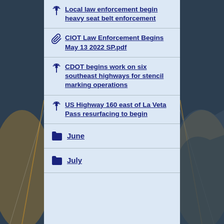Local law enforcement begin heavy seat belt enforcement
CIOT Law Enforcement Begins May 13 2022 SP.pdf
CDOT begins work on six southeast highways for stencil marking operations
US Highway 160 east of La Veta Pass resurfacing to begin
June
July